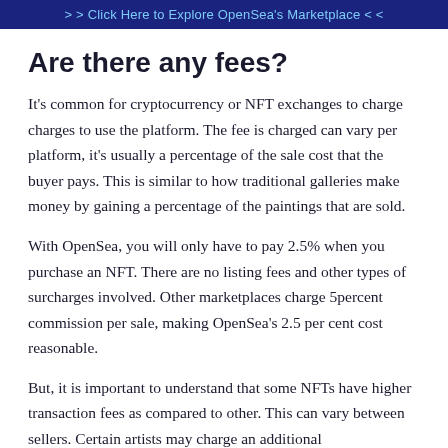> > Click Here to Explore OpenSea's Marketplace < <
Are there any fees?
It's common for cryptocurrency or NFT exchanges to charge charges to use the platform. The fee is charged can vary per platform, it's usually a percentage of the sale cost that the buyer pays. This is similar to how traditional galleries make money by gaining a percentage of the paintings that are sold.
With OpenSea, you will only have to pay 2.5% when you purchase an NFT. There are no listing fees and other types of surcharges involved. Other marketplaces charge 5percent commission per sale, making OpenSea's 2.5 per cent cost reasonable.
But, it is important to understand that some NFTs have higher transaction fees as compared to other. This can vary between sellers. Certain artists may charge an additional…